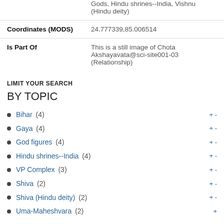| Field | Value |
| --- | --- |
|  | Gods, Hindu shrines--India, Vishnu (Hindu deity) |
| Coordinates (MODS) | 24.777339,85.006514 |
| Is Part Of | This is a still image of Chota Akshayavata@sci-site001-03 (Relationship) |
LIMIT YOUR SEARCH
BY TOPIC
Bihar (4)
Gaya (4)
God figures (4)
Hindu shrines--India (4)
VP Complex (3)
Shiva (2)
Shiva (Hindu deity) (2)
Uma-Maheshvara (2)